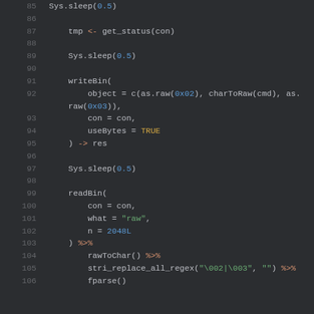[Figure (screenshot): Code editor screenshot showing R code lines 85-106 with syntax highlighting on dark background. Lines show Sys.sleep, get_status, writeBin, readBin, and pipe operator calls with orange, blue, and green colored tokens.]